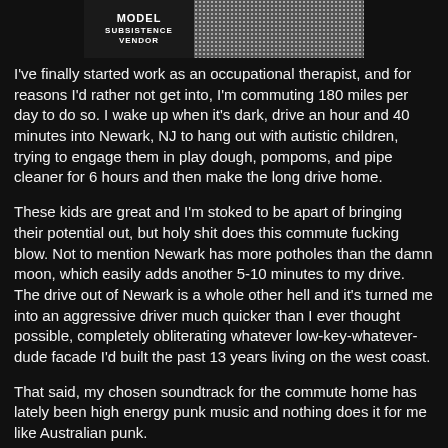[Figure (photo): Album or band image showing 'MODEL SUBSISTENCE VENDOR' text logo on the left side and a grainy/noisy texture image on the right side, against a dark background.]
I've finally started work as an occupational therapist, and for reasons I'd rather not get into, I'm commuting 180 miles per day to do so. I wake up when it's dark, drive an hour and 40 minutes into Newark, NJ to hang out with autistic children, trying to engage them in play dough, pompoms, and pipe cleaner for 6 hours and then make the long drive home.
These kids are great and I'm stoked to be apart of bringing their potential out, but holy shit does this commute fucking blow. Not to mention Newark has more potholes than the damn moon, which easily adds another 5-10 minutes to my drive. The drive out of Newark is a whole other hell and it's turned me into an aggressive driver much quicker than I ever thought possible, completely obliterating whatever low-key-whatever-dude facade I'd built the past 13 years living on the west coast.
That said, my chosen soundtrack for the commute home has lately been high energy punk music and nothing does it for me like Australian punk.